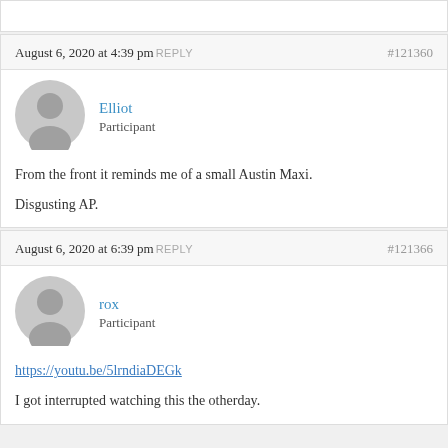August 6, 2020 at 4:39 pm REPLY #121360
Elliot
Participant
From the front it reminds me of a small Austin Maxi.

Disgusting AP.
August 6, 2020 at 6:39 pm REPLY #121366
rox
Participant
https://youtu.be/5lrndiaDEGk

I got interrupted watching this the otherday.